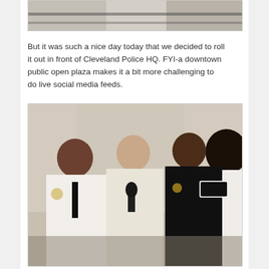[Figure (photo): Partial view of a photo at top of page showing people, cropped — only the bottom portion is visible]
But it was such a nice day today that we decided to roll it out in front of Cleveland Police HQ. FYI-a downtown public open plaza makes it a bit more challenging to do live social media feeds.
[Figure (photo): Photo of a woman in a light-colored blazer holding a microphone being interviewed in front of Cleveland Police HQ, flanked by two police officers in uniform and another person on the far right]